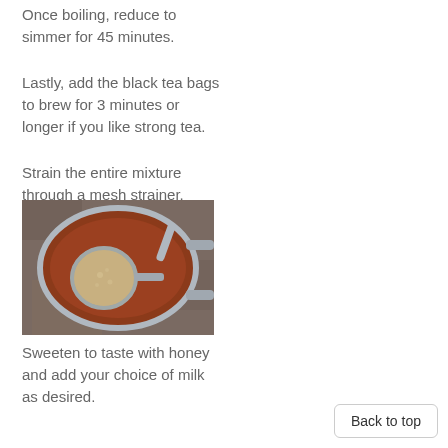Once boiling, reduce to simmer for 45 minutes.
Lastly, add the black tea bags to brew for 3 minutes or longer if you like strong tea.
Strain the entire mixture through a mesh strainer.
[Figure (photo): Top-down view of a metal mesh strainer sitting in a pot filled with reddish-brown chai tea liquid, placed on a granite countertop.]
Sweeten to taste with honey and add your choice of milk as desired.
Back to top